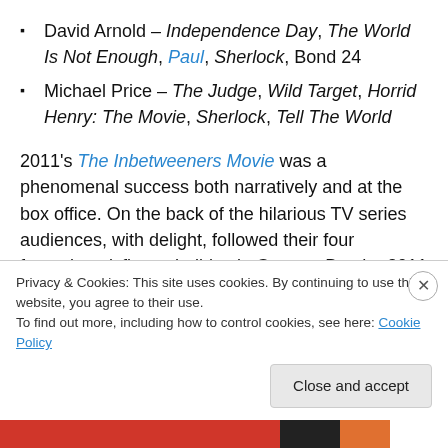David Arnold – Independence Day, The World Is Not Enough, Paul, Sherlock, Bond 24
Michael Price – The Judge, Wild Target, Horrid Henry: The Movie, Sherlock, Tell The World
2011's The Inbetweeners Movie was a phenomenal success both narratively and at the box office. On the back of the hilarious TV series audiences, with delight, followed their four favourite misfits on holiday in Greece. But the 2011 film was supposed to be a last stand for the cast. A sequel had not been intended at the outset and, to some
Privacy & Cookies: This site uses cookies. By continuing to use this website, you agree to their use.
To find out more, including how to control cookies, see here: Cookie Policy